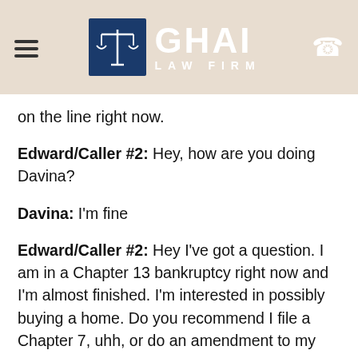[Figure (logo): Ghai Law Firm logo with scales of justice icon on dark blue background, hamburger menu icon on left, phone icon on right, on beige/tan header background]
on the line right now.
Edward/Caller #2: Hey, how are you doing Davina?
Davina: I'm fine
Edward/Caller #2: Hey I've got a question. I am in a Chapter 13 bankruptcy right now and I'm almost finished. I'm interested in possibly buying a home. Do you recommend I file a Chapter 7, uhh, or do an amendment to my